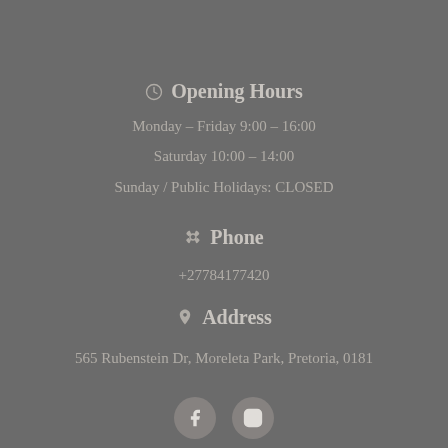Opening Hours
Monday - Friday 9:00 - 16:00
Saturday 10:00 - 14:00
Sunday / Public Holidays: CLOSED
Phone
+27784177420
Address
565 Rubenstein Dr, Moreleta Park, Pretoria, 0181
[Figure (other): Facebook and Instagram social media icon buttons]